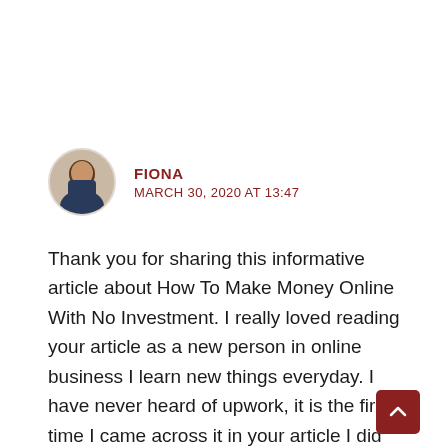[Figure (illustration): Circular avatar photo of a person]
FIONA
MARCH 30, 2020 AT 13:47
Thank you for sharing this informative article about How To Make Money Online With No Investment. I really loved reading your article as a new person in online business I learn new things everyday. I have never heard of upwork, it is the first time I came across it in your article I did check it just now,  I am very interested in checking it out I will let you know how it went. I